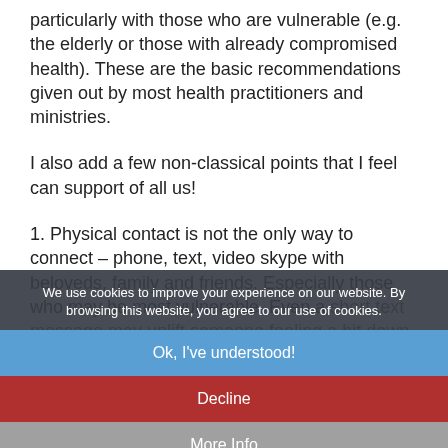particularly with those who are vulnerable (e.g. the elderly or those with already compromised health). These are the basic recommendations given out by most health practitioners and ministries.
I also add a few non-classical points that I feel can support of all us!
1. Physical contact is not the only way to connect – phone, text, video skype with beloveds, family and friends. Especially those who may be most vulnerable. Even a short text message may uplift someone feeling a bit down health, maybe look at supporting neighbours or family who could benefit from additional help with shopping or cooking or running errands or child care.
We use cookies to improve your experience on our website. By browsing this website, you agree to our use of cookies.
2. Explore creative ways to socially connect. I loved the viral videos of the Italian communities singing and sharing